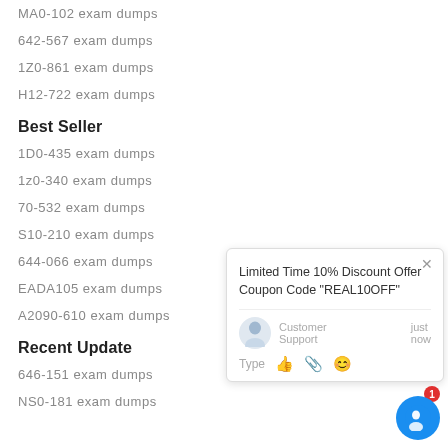MA0-102 exam dumps
642-567 exam dumps
1Z0-861 exam dumps
H12-722 exam dumps
Best Seller
1D0-435 exam dumps
1z0-340 exam dumps
70-532 exam dumps
S10-210 exam dumps
644-066 exam dumps
EADA105 exam dumps
A2090-610 exam dumps
Recent Update
646-151 exam dumps
NS0-181 exam dumps
[Figure (screenshot): Chat popup with 'Limited Time 10% Discount Offer Coupon Code "REAL10OFF"' message, Customer Support avatar, and type input row with icons.]